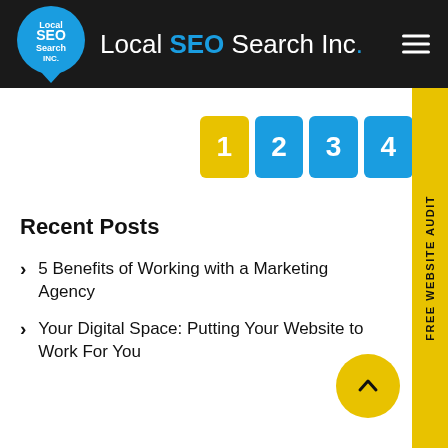Local SEO Search Inc.
[Figure (infographic): Pagination buttons showing numbers 1 (yellow/active), 2, 3, 4 (blue), and partial 5 (blue), with FREE WEBSITE AUDIT yellow sidebar tab on the right]
Recent Posts
5 Benefits of Working with a Marketing Agency
Your Digital Space: Putting Your Website to Work For You